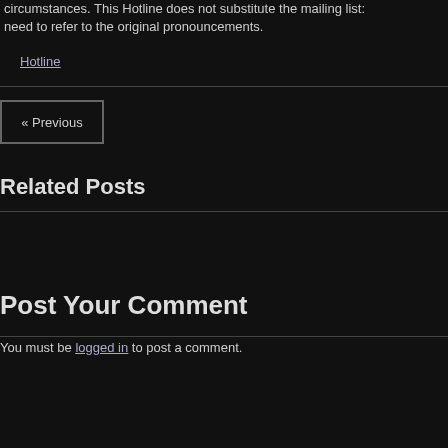circumstances. This Hotline does not substitute the mailing list: need to refer to the original pronouncements.
Hotline
« Previous
Related Posts
Post Your Comment
You must be logged in to post a comment.